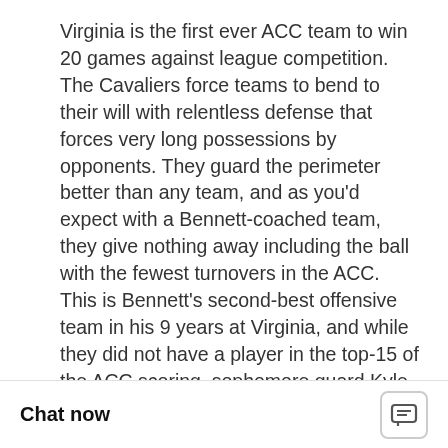Virginia is the first ever ACC team to win 20 games against league competition. The Cavaliers force teams to bend to their will with relentless defense that forces very long possessions by opponents. They guard the perimeter better than any team, and as you'd expect with a Bennett-coached team, they give nothing away including the ball with the fewest turnovers in the ACC. This is Bennett's second-best offensive team in his 9 years at Virginia, and while they did not have a player in the top-15 of the ACC scoring, sophomore guard Kyle Guy scored 14 PPG as part of a balanced double-digit scoring trio in the back court with 6-foot-5 guards Ty Jero... The Cavs howe...